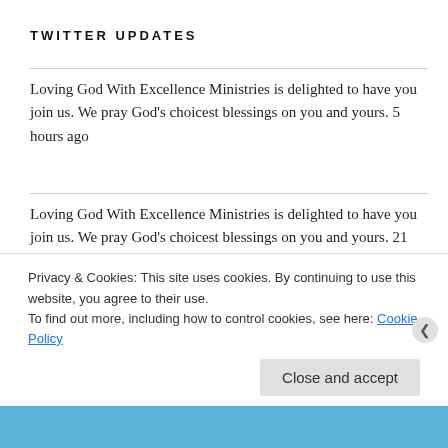TWITTER UPDATES
Loving God With Excellence Ministries is delighted to have you join us. We pray God’s choicest blessings on you and yours. 5 hours ago
Loving God With Excellence Ministries is delighted to have you join us. We pray God’s choicest blessings on you and yours. 21 hours ago
California's dazzling "Field of Light" display comes alive at sunset msn.com/en-us/video/pe… 1 day ago
Privacy & Cookies: This site uses cookies. By continuing to use this website, you agree to their use.
To find out more, including how to control cookies, see here: Cookie Policy
Close and accept